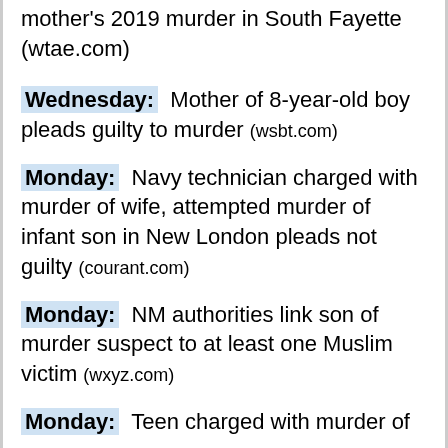mother's 2019 murder in South Fayette (wtae.com)
Wednesday: Mother of 8-year-old boy pleads guilty to murder (wsbt.com)
Monday: Navy technician charged with murder of wife, attempted murder of infant son in New London pleads not guilty (courant.com)
Monday: NM authorities link son of murder suspect to at least one Muslim victim (wxyz.com)
Monday: Teen charged with murder of